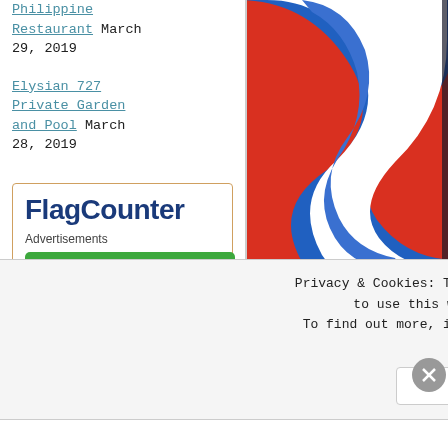Philippine Restaurant March 29, 2019
Elysian 727 Private Garden and Pool March 28, 2019
FlagCounter
Advertisements
[Figure (logo): Jetpack advertisement banner — green background with lightning bolt icon and 'Jetpack' text in white]
[Figure (photo): Close-up photo of a painted wall mural showing blue and white curved stripes on a red background — appears to be a Philippine flag or decorative mural]
wall
The shabby chic interior r
Privacy & Cookies: This site uses cookies. By continuing to use this website, you agree to their use. To find out more, including how to control cookies, see here: Cookie Policy
Close and accept